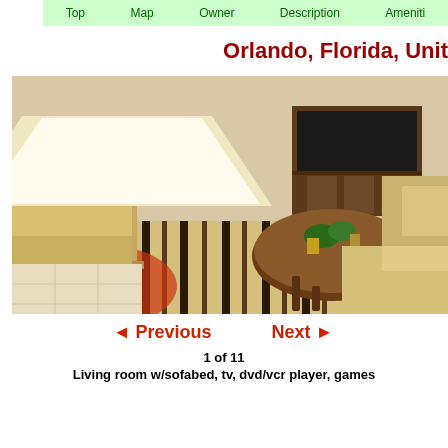Top  Map  Owner  Description  Ameniti
Orlando, Florida, Unit
[Figure (photo): Interior living room photo showing a large lamp in the foreground, striped rug, round wooden coffee table with plants, and tan sofas/chairs. Wooden cabinet/TV unit in background.]
◄ Previous    Next ►
1 of 11
Living room w/sofabed, tv, dvd/vcr player, games